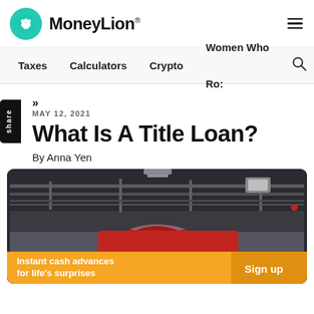MoneyLion
Taxes  Calculators  Crypto  Women Who Ro:
»
MAY 12, 2021
What Is A Title Loan?
By Anna Yen
[Figure (photo): Interior of a parking garage with a red car visible, industrial ceiling with pipes and lighting. Includes an orange CTA banner at the bottom reading 'Instant cash advances for life's surprises' with a 'Sign up' button.]
Instant cash advances for life's surprises
Sign up